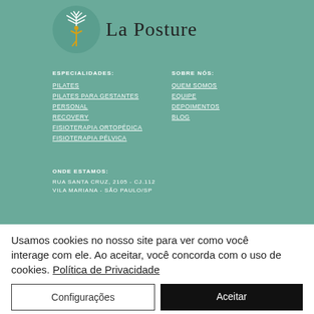[Figure (logo): La Posture logo with teal circle containing a yoga figure and tree branches, with cursive text La Posture]
ESPECIALIDADES:
PILATES
PILATES PARA GESTANTES
PERSONAL
RECOVERY
FISIOTERAPIA ORTOPÉDICA
FISIOTERAPIA PÉLVICA
SOBRE NÓS:
QUEM SOMOS
EQUIPE
DEPOIMENTOS
BLOG
ONDE ESTAMOS:
RUA SANTA CRUZ, 2105 - CJ.112
VILA MARIANA - SÃO PAULO/SP
Usamos cookies no nosso site para ver como você interage com ele. Ao aceitar, você concorda com o uso de cookies. Política de Privacidade
Configurações
Aceitar